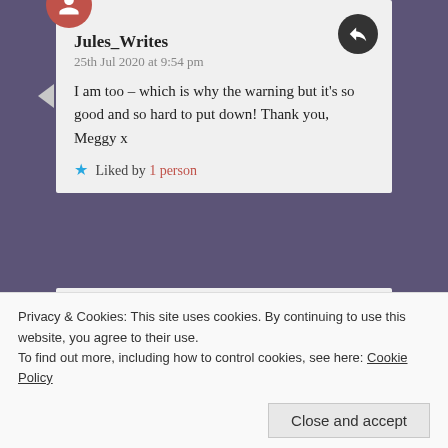Jules_Writes
25th Jul 2020 at 9:54 pm
I am too – which is why the warning but it's so good and so hard to put down! Thank you, Meggy x
Liked by 1 person
Yvonne (It's All About Books)
25th Jul 2020 at 2:21 pm
Privacy & Cookies: This site uses cookies. By continuing to use this website, you agree to their use.
To find out more, including how to control cookies, see here: Cookie Policy
Close and accept